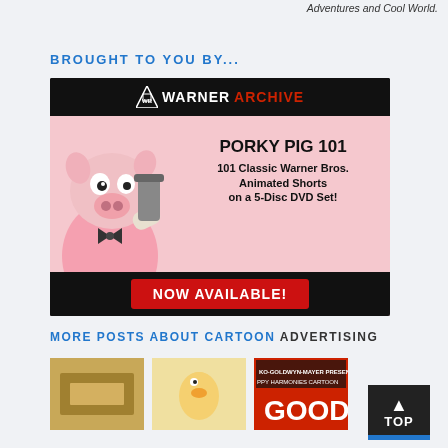Adventures and Cool World.
BROUGHT TO YOU BY...
[Figure (advertisement): Warner Archive advertisement for Porky Pig 101 – 101 Classic Warner Bros. Animated Shorts on a 5-Disc DVD Set. NOW AVAILABLE! Features Porky Pig character art on a pink/black background with WB Warner Archive logo.]
MORE POSTS ABOUT CARTOON ADVERTISING
[Figure (photo): Thumbnail image 1 – cartoon advertising related photo]
[Figure (illustration): Thumbnail image 2 – cartoon character illustration]
[Figure (photo): Thumbnail image 3 – MGM/Goldwyn-Mayer Happy Harmonies Cartoon – GOOD]